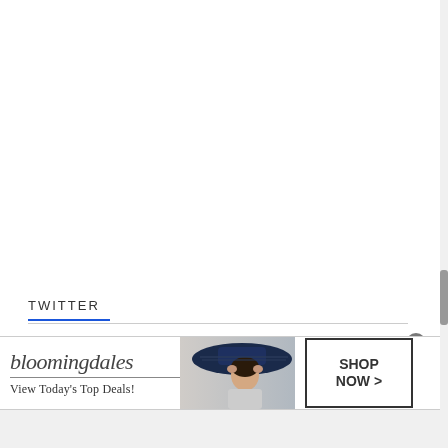TWITTER
[Figure (illustration): Bloomingdales advertisement banner with logo, tagline 'View Today's Top Deals!', a woman in a wide-brim hat, and a 'SHOP NOW >' button]